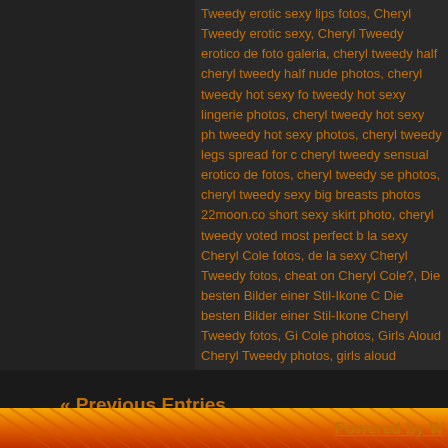Tweedy erotic sexy lips fotos, Cheryl Tweedy erotic sexy, Cheryl Tweedy erotico de foto galeria, cheryl tweedy half, cheryl tweedy half nude photos, cheryl tweedy hot sexy fo, tweedy hot sexy lingerie photos, cheryl tweedy hot sexy ph, tweedy hot sexy photos, cheryl tweedy legs spread for c, cheryl tweedy sensual erotico de fotos, cheryl tweedy se, photos, cheryl tweedy sexy big breasts photos 22moon.com, short sexy skirt photo, cheryl tweedy voted most perfect b, la sexy Cheryl Cole fotos, de la sexy Cheryl Tweedy fotos, cheat on Cheryl Cole?, Die besten Bilder einer Stil-Ikone C, Die besten Bilder einer Stil-Ikone Cheryl Tweedy fotos, Gi, Cole photos, Girls Aloud Cheryl Tweedy photos, girls aloud, photos, sensual de figura Cheryl Tweedy fotos, sensual f, Cole fotos, sensual figura de Cheryl Tweedy fotos, Sonia W, Ashley Cole?, Sonia Wild erotico de fotos, Sonia Wild ph, sexy body photos, the x factor judge cheryl cole, topless m, photos
Leave a Comment »
« Previous Entries
Powered by W